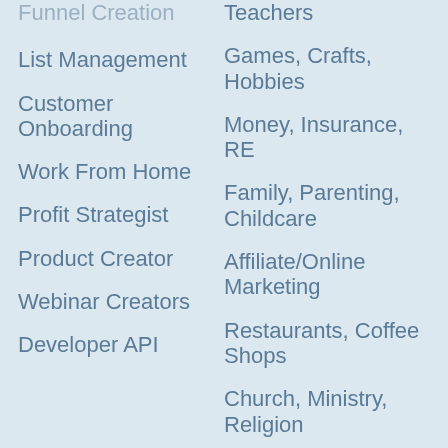Funnel Creation
List Management
Customer Onboarding
Work From Home
Profit Strategist
Product Creator
Webinar Creators
Developer API
Teachers
Games, Crafts, Hobbies
Money, Insurance, RE
Family, Parenting, Childcare
Affiliate/Online Marketing
Restaurants, Coffee Shops
Church, Ministry, Religion
Pets, Animals